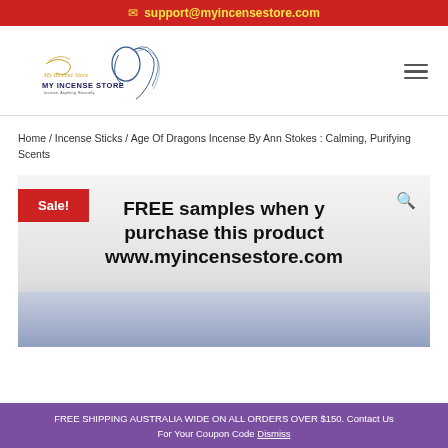✉ support@myincensestore.com
[Figure (logo): My Incense Store logo with woman's profile and decorative script]
Home / Incense Sticks / Age Of Dragons Incense By Ann Stokes : Calming, Purifying Scents
[Figure (photo): Product image showing Sale! badge and text: FREE samples when you purchase this product www.myincensestore.com, with incense packaging below]
FREE SHIPPING AUSTRALIA WIDE ON ALL ORDERS OVER $150. Contact Us For Your Coupon Code Dismiss